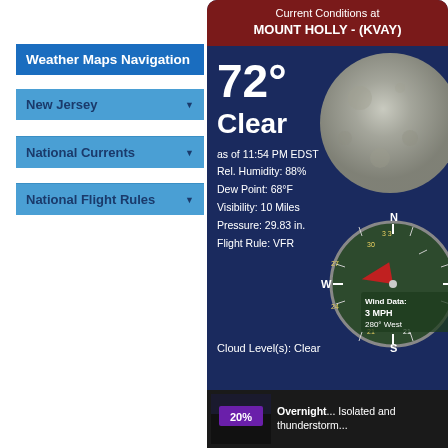Weather Maps Navigation
New Jersey ▼
National Currents ▼
National Flight Rules ▼
Current Conditions at MOUNT HOLLY - (KVAY)
72°
Clear
as of 11:54 PM EDST
Rel. Humidity: 88%
Dew Point: 68°F
Visibility: 10 Miles
Pressure: 29.83 in.
Flight Rule: VFR
[Figure (other): Compass/wind direction dial showing Wind Data: 3 MPH, 280° West, with moon image in background]
Cloud Level(s): Clear
Overnight... Isolated and thunderstorm...